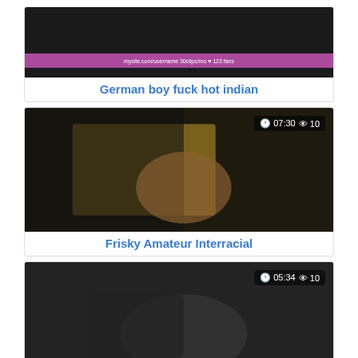[Figure (screenshot): Thumbnail image for 'German boy fuck hot indian' video with watermark bar at bottom]
German boy fuck hot indian
[Figure (screenshot): Thumbnail for 'Frisky Amateur Interracial' video, duration 07:30, views 10]
Frisky Amateur Interracial
[Figure (screenshot): Thumbnail for third video, duration 05:34, views 10]